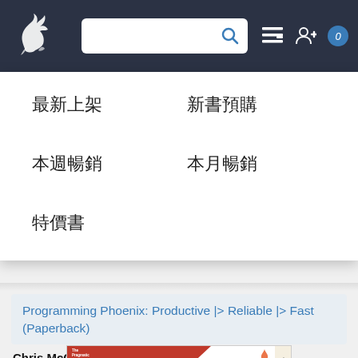[Figure (screenshot): Website navigation bar with dragon logo, search bar, and icons on dark blue background]
最新上架
新書預購
本週暢銷
本月暢銷
特價書
Programming Phoenix: Productive |> Reliable |> Fast (Paperback)
Chris McCord, Bruce Tate, Jose Valim
[Figure (photo): Book cover of Programming Phoenix showing The Pragmatic Programmers logo and book title]